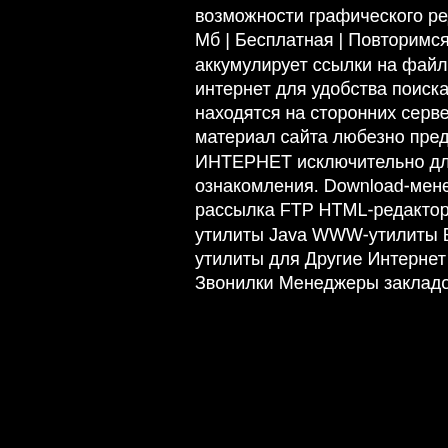возможности графического редактора. 15.75 Мб | Бесплатная | Повторимся! Сайт аккумулирует ссылки на файлы в сети интернет для удобства поиска. Все файлы находятся на сторонних серверах. Весь материал сайта любезно предоставлен сетью ИНТЕРНЕТ исключительно для ознакомления. Download-менеджеры E-mail рассылка FTP HTML-редакторы HTML-утилиты Java WWW-утилиты Браузеры и утилиты для Другие Интернет утилиты Звонилки Менеджеры закладок Мобильная